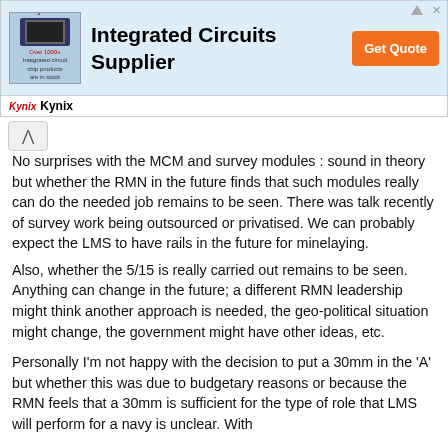[Figure (other): Advertisement banner for Kynix Integrated Circuits Supplier with logo, Get Quote button, and Kynix footer]
No surprises with the MCM and survey modules : sound in theory but whether the RMN in the future finds that such modules really can do the needed job remains to be seen. There was talk recently of survey work being outsourced or privatised. We can probably expect the LMS to have rails in the future for minelaying.
Also, whether the 5/15 is really carried out remains to be seen. Anything can change in the future; a different RMN leadership might think another approach is needed, the geo-political situation might change, the government might have other ideas, etc.
Personally I'm not happy with the decision to put a 30mm in the 'A' but whether this was due to budgetary reasons or because the RMN feels that a 30mm is sufficient for the type of role that LMS will perform for a navy is unclear. With